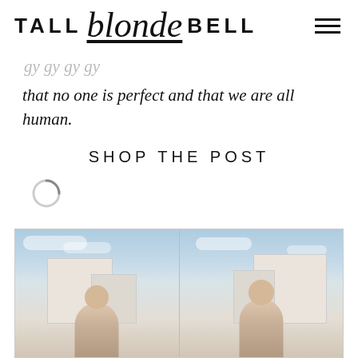TALL blonde BELL
that no one is perfect and that we are all human.
SHOP THE POST
[Figure (illustration): Loading spinner icon]
[Figure (photo): Two side-by-side photos of a blonde woman posing outdoors with white/beige building architecture in the background under a partly cloudy sky]